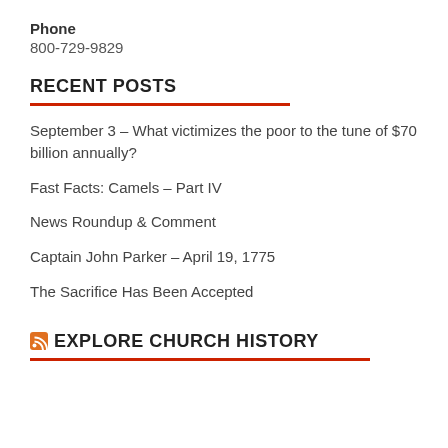Phone
800-729-9829
RECENT POSTS
September 3 – What victimizes the poor to the tune of $70 billion annually?
Fast Facts: Camels – Part IV
News Roundup & Comment
Captain John Parker – April 19, 1775
The Sacrifice Has Been Accepted
EXPLORE CHURCH HISTORY